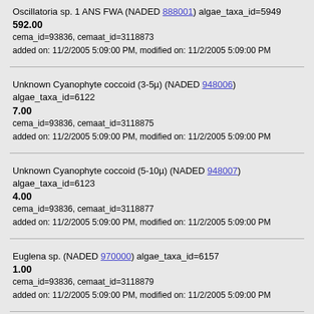Oscillatoria sp. 1 ANS FWA (NADED 888001) algae_taxa_id=5949
592.00
cema_id=93836, cemaat_id=3118873
added on: 11/2/2005 5:09:00 PM, modified on: 11/2/2005 5:09:00 PM
Unknown Cyanophyte coccoid (3-5µ) (NADED 948006) algae_taxa_id=6122
7.00
cema_id=93836, cemaat_id=3118875
added on: 11/2/2005 5:09:00 PM, modified on: 11/2/2005 5:09:00 PM
Unknown Cyanophyte coccoid (5-10µ) (NADED 948007) algae_taxa_id=6123
4.00
cema_id=93836, cemaat_id=3118877
added on: 11/2/2005 5:09:00 PM, modified on: 11/2/2005 5:09:00 PM
Euglena sp. (NADED 970000) algae_taxa_id=6157
1.00
cema_id=93836, cemaat_id=3118879
added on: 11/2/2005 5:09:00 PM, modified on: 11/2/2005 5:09:00 PM